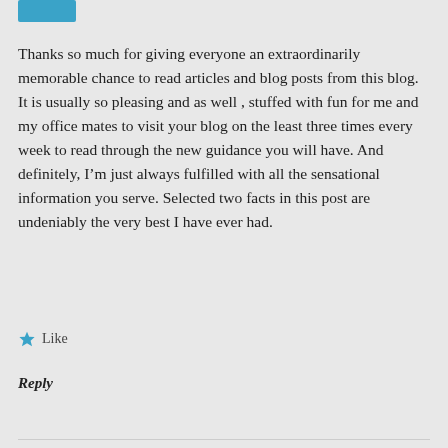[Figure (other): Blue rectangular avatar/icon bar at top left]
Thanks so much for giving everyone an extraordinarily memorable chance to read articles and blog posts from this blog. It is usually so pleasing and as well , stuffed with fun for me and my office mates to visit your blog on the least three times every week to read through the new guidance you will have. And definitely, I’m just always fulfilled with all the sensational information you serve. Selected two facts in this post are undeniably the very best I have ever had.
Like
Reply